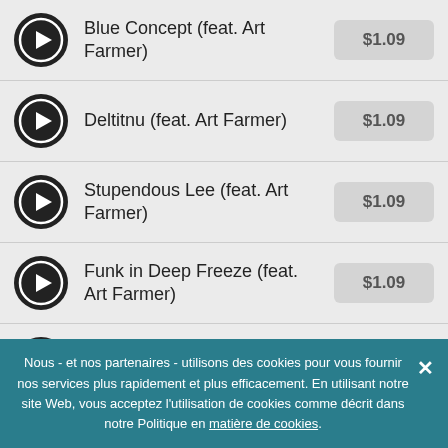Blue Concept (feat. Art Farmer) $1.09
Deltitnu (feat. Art Farmer) $1.09
Stupendous Lee (feat. Art Farmer) $1.09
Funk in Deep Freeze (feat. Art Farmer) $1.09
Wham and They're Off (feat. Art Farmer) $1.09
Fin De L'affaire (feat. Art Farmer) $1.09
Nous - et nos partenaires - utilisons des cookies pour vous fournir nos services plus rapidement et plus efficacement. En utilisant notre site Web, vous acceptez l'utilisation de cookies comme décrit dans notre Politique en matière de cookies.